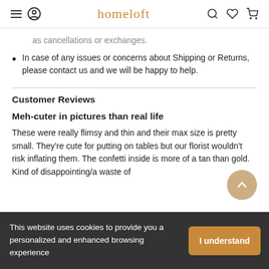homeloft
as cancellations or exchanges.
In case of any issues or concerns about Shipping or Returns, please contact us and we will be happy to help.
Customer Reviews
Meh-cuter in pictures than real life
These were really flimsy and thin and their max size is pretty small. They're cute for putting on tables but our florist wouldn't risk inflating them. The confetti inside is more of a tan than gold. Kind of disappointing/a waste of
This website uses cookies to provide you a personalized and enhanced browsing experience
I understand